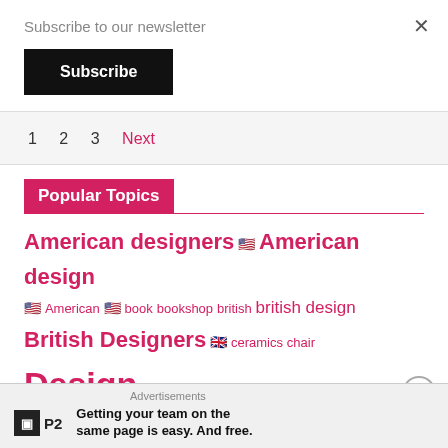Subscribe to our newsletter
Subscribe
1  2  3  Next
Popular Topics
American designers 🇺🇸 American design 🇺🇸 American 🇺🇸 book bookshop british british design British Designers 🇬🇧 ceramics chair Design designer Design Term French French design French Designer 🇫🇷
Advertisements
Getting your team on the same page is easy. And free.